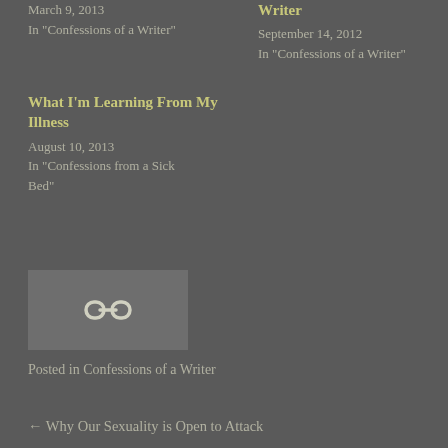March 9, 2013
In "Confessions of a Writer"
Writer
September 14, 2012
In "Confessions of a Writer"
What I'm Learning From My Illness
August 10, 2013
In "Confessions from a Sick Bed"
[Figure (other): Link/share icon box with chain link symbol]
Posted in Confessions of a Writer
← Why Our Sexuality is Open to Attack